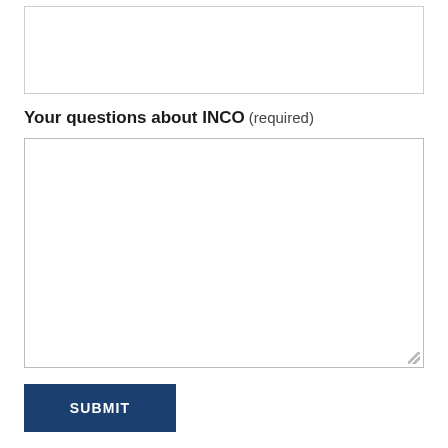[Figure (screenshot): Empty text input field at the top of the page]
Your questions about INCO (required)
[Figure (screenshot): Large empty textarea for user input with resize handle]
SUBMIT
To find out more about Patsos, the opportunity for accommodation guided tours you can visit Vasilis' great website: https://...